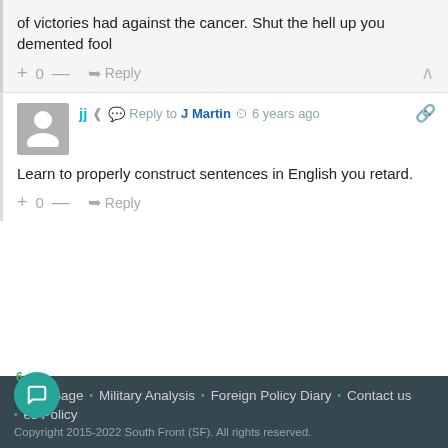of victories had against the cancer. Shut the hell up you demented fool
+ 0 — ➥ Reply
jj • Reply to J Martin ⏱ 6 years ago
Learn to properly construct sentences in English you retard.
+ 0 — ➥ Reply
Homepage • Military Analysis • Foreign Policy Diary • Contact us • es Policy  Copyright 2015-2022 South Front (SF). All rights reserved.